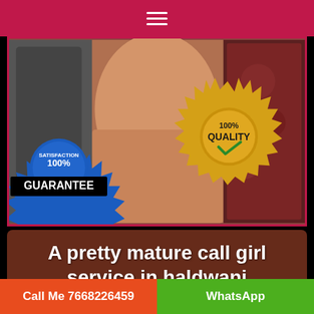≡ (hamburger menu)
[Figure (photo): A woman in pink clothing with two overlaid badge graphics: a blue 'SATISFACTION 100% GUARANTEE' badge on the left and a gold '100% QUALITY' badge with checkmark on the right]
A pretty mature call girl service in haldwani
Call Me 7668226459 | WhatsApp